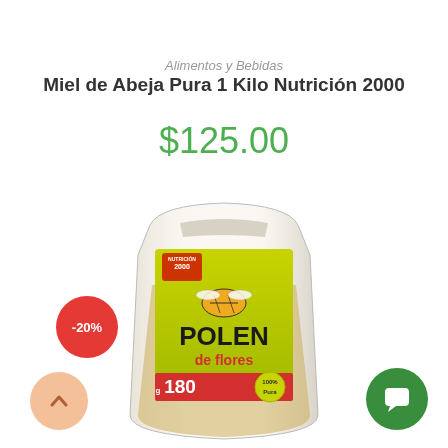Alimentos y Bebidas
Miel de Abeja Pura 1 Kilo Nutrición 2000
$125.00
[Figure (photo): Product photo of a clear resealable pouch of Polen de Flores (flower pollen) 180g by Nutricion 2000, with a yellow label showing a bee and text POLEN de flores, 100% Pura badge, and visible pollen granules inside the bag.]
-20%
[Figure (illustration): Scroll-up arrow button, peach/salmon colored circle with upward chevron icon]
[Figure (illustration): Chat support button, green circle with chat bubble icon]